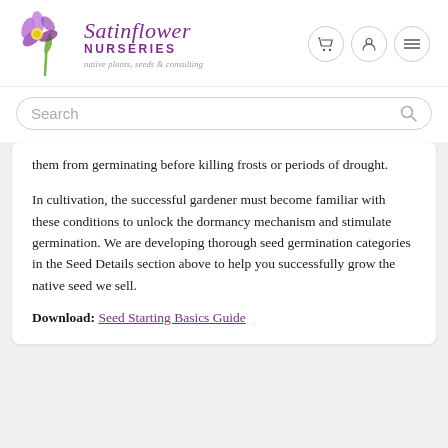[Figure (logo): Satinflower Nurseries logo with purple flower illustration, company name in purple italic/bold text, tagline 'native plants, seeds & consulting']
Search
them from germinating before killing frosts or periods of drought.
In cultivation, the successful gardener must become familiar with these conditions to unlock the dormancy mechanism and stimulate germination. We are developing thorough seed germination categories in the Seed Details section above to help you successfully grow the native seed we sell.
Download: Seed Starting Basics Guide